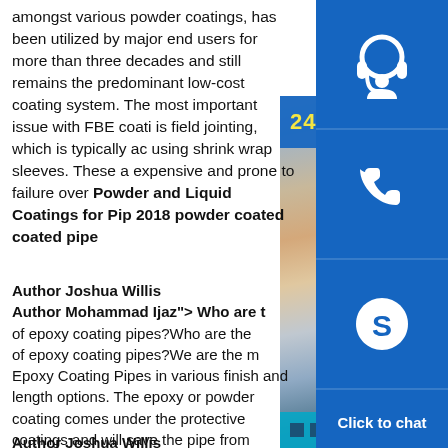amongst various powder coatings, has been utilized by major end users for more than three decades and still remains the predominant low-cost coating system. The most important issue with FBE coati is field jointing, which is typically ac using shrink wrap sleeves. These a expensive and prone to failure over Powder and Liquid Coatings for Pip 2018 powder coated coated pipe
Author Joshua Willis
Author Mohammad Ijaz"> Who are t of epoxy coating pipes?Who are the of epoxy coating pipes?We are the m Epoxy Coating Pipes in various finish and length options. The epoxy or powder coating comes under the protective coatings and will save the pipe from corrosion. read more powder coated coated pipeCoated Pipe at Best Price in India
Author Joshua Willis
[Figure (photo): Customer service representative smiling, wearing a headset, with blue overlay chat widget showing 24/7 hour badge, headset icon, phone icon, Skype icon, and Click to chat button]